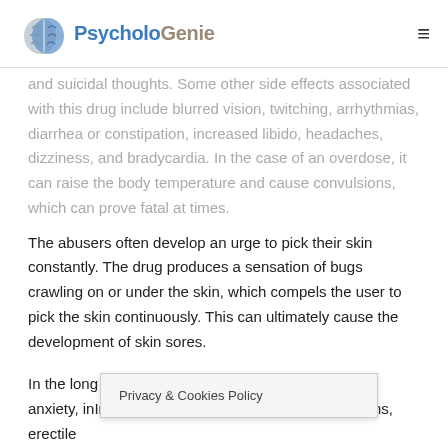PsycholoGenie
and suicidal thoughts. Some other side effects associated with this drug include blurred vision, twitching, arrhythmias, diarrhea or constipation, increased libido, headaches, dizziness, and bradycardia. In the case of an overdose, it can raise the body temperature and cause convulsions, which can prove fatal at times.
The abusers often develop an urge to pick their skin constantly. The drug produces a sensation of bugs crawling on or under the skin, which compels the user to pick the skin continuously. This can ultimately cause the development of skin sores.
In the long run, its chronic use can cause psychosis, anxiety, i... art problems, erectile
Privacy & Cookies Policy